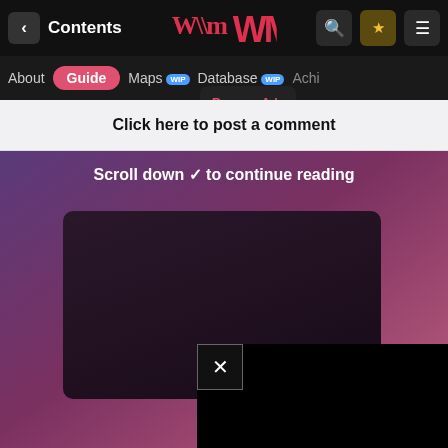< Contents
[Figure (screenshot): Navigation bar with back arrow, Contents label, stylized logo, search icon, star icon, and menu icon]
[Figure (screenshot): Tab bar with About, Guide (active/selected), Maps WIP, Database WIP, Achievements tabs and a Remove Ads dropdown]
Click here to post a comment
Scroll down to continue reading
[Figure (screenshot): Dark ad container with rounded corners on gradient purple-pink background, with a popup ad and X close button overlay]